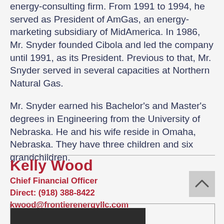energy-consulting firm. From 1991 to 1994, he served as President of AmGas, an energy-marketing subsidiary of MidAmerica. In 1986, Mr. Snyder founded Cibola and led the company until 1991, as its President. Previous to that, Mr. Snyder served in several capacities at Northern Natural Gas.
Mr. Snyder earned his Bachelor's and Master's degrees in Engineering from the University of Nebraska. He and his wife reside in Omaha, Nebraska. They have three children and six grandchildren.
Kelly Wood
Chief Financial Officer
Direct: (918) 388-8422
kwood@frontierenergyllc.com